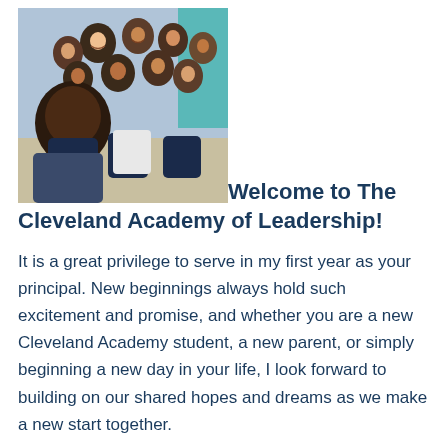[Figure (photo): A man (principal) taking a selfie with a group of smiling school children in navy blue uniforms outdoors]
Welcome to The Cleveland Academy of Leadership!
It is a great privilege to serve in my first year as your principal. New beginnings always hold such excitement and promise, and whether you are a new Cleveland Academy student, a new parent, or simply beginning a new day in your life, I look forward to building on our shared hopes and dreams as we make a new start together.
The Cleveland Academy of Leadership is dedicated to